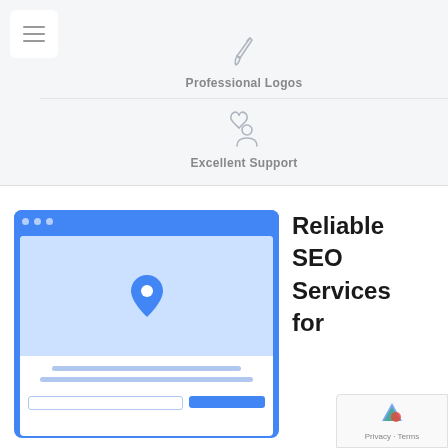[Figure (illustration): Hamburger menu icon (three horizontal lines) in white rounded box, top left corner]
[Figure (illustration): Paintbrush icon in light gray above 'Professional Logos' label]
Professional Logos
[Figure (illustration): Person with heart icon in light gray above 'Excellent Support' label]
Excellent Support
[Figure (illustration): Browser window mockup with blue header bar and dots, light blue map area with location pin, and content lines with buttons below]
Reliable SEO Services for
[Figure (logo): Google reCAPTCHA badge with logo and Privacy/Terms text]